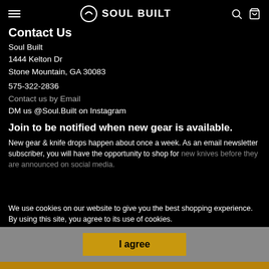Soul Built — navigation header with hamburger menu, Soul Built logo, search and cart icons
Contact Us
Soul Built
1444 Kelton Dr
Stone Mountain, GA 30083
575-322-2836
Contact us by Email
DM us @Soul.Built on Instagram
Join to be notified when new gear is available.
New gear & knife drops happen about once a week. As an email newsletter subscriber, you will have the opportunity to shop for new knives before they are announced on social media.
We use cookies on our website to give you the best shopping experience. By using this site, you agree to its use of cookies.
I agree